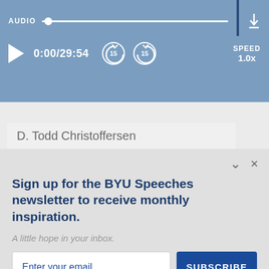[Figure (screenshot): Audio player bar with scrubber, play button, time display 0:00/29:54, skip back/forward 15s buttons, speed 1.0x, and download icon on blue background]
D. Todd Christoffersen
January 31, 2006
TOP
CONTACT
Sign up for the BYU Speeches newsletter to receive monthly inspiration.
A little hope in your inbox.
Enter your email
SUBSCRIBE